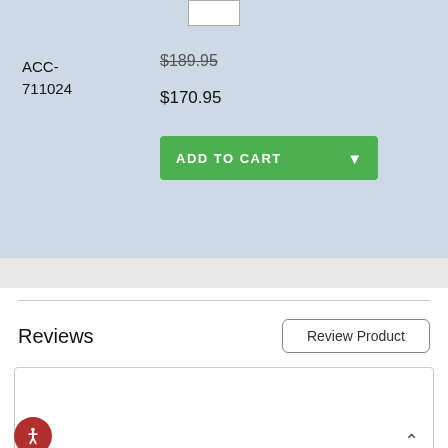ACC-711024
$189.95 (strikethrough)
$170.95
ADD TO CART
Reviews
Review Product